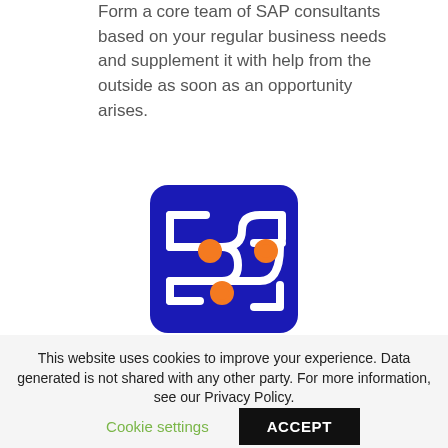Form a core team of SAP consultants based on your regular business needs and supplement it with help from the outside as soon as an opportunity arises.
[Figure (logo): Circuit board logo icon — dark blue rounded-square background with white circuit traces and three orange circular nodes]
This website uses cookies to improve your experience. Data generated is not shared with any other party. For more information, see our Privacy Policy.
Cookie settings
ACCEPT